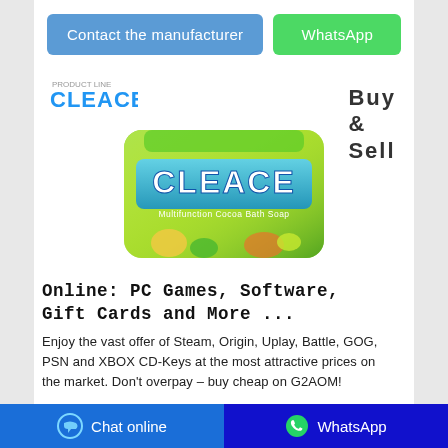[Figure (screenshot): Two buttons: 'Contact the manufacturer' (blue) and 'WhatsApp' (green)]
[Figure (logo): Cleace brand logo in blue stylized text]
Buy & Sell
[Figure (photo): Cleace Multifunction Cocoa Bath Soap product in green packaging]
Online: PC Games, Software, Gift Cards and More ...
Enjoy the vast offer of Steam, Origin, Uplay, Battle, GOG, PSN and XBOX CD-Keys at the most attractive prices on the market. Don't overpay – buy cheap on G2AOM!
[Figure (screenshot): Bottom bar with 'Chat online' (blue) and 'WhatsApp' (dark blue) buttons]